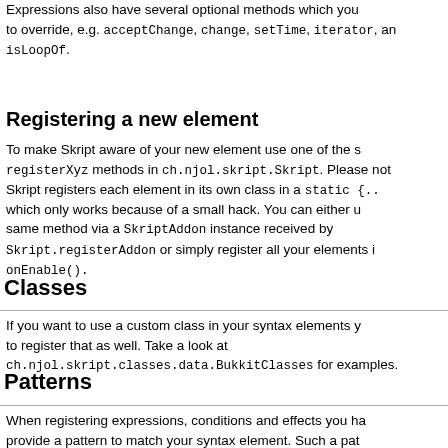Expressions also have several optional methods which you to override, e.g. acceptChange, change, setTime, iterator, and isLoopOf.
Registering a new element
To make Skript aware of your new element use one of the registerXyz methods in ch.njol.skript.Skript. Please note Skript registers each element in its own class in a static {... which only works because of a small hack. You can either use same method via a SkriptAddon instance received by Skript.registerAddon or simply register all your elements in onEnable().
Classes
If you want to use a custom class in your syntax elements you to register that as well. Take a look at ch.njol.skript.classes.data.BukkitClasses for examples.
Patterns
When registering expressions, conditions and effects you have provide a pattern to match your syntax element. Such a pattern matched 1:1 to the user's input except for the following cons